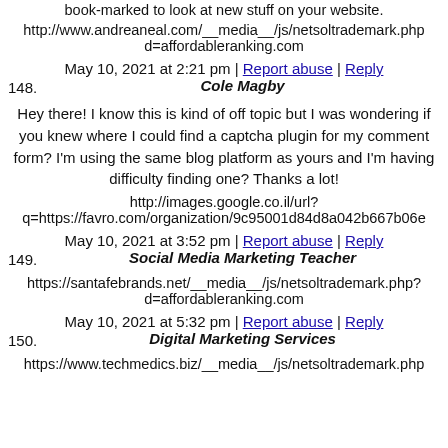book-marked to look at new stuff on your website.
http://www.andreaneal.com/__media__/js/netsoltrademark.php?d=affordableranking.com
May 10, 2021 at 2:21 pm | Report abuse | Reply
148. Cole Magby
Hey there! I know this is kind of off topic but I was wondering if you knew where I could find a captcha plugin for my comment form? I'm using the same blog platform as yours and I'm having difficulty finding one? Thanks a lot!
http://images.google.co.il/url?q=https://favro.com/organization/9c95001d84d8a042b667b06e
May 10, 2021 at 3:52 pm | Report abuse | Reply
149. Social Media Marketing Teacher
https://santafebrands.net/__media__/js/netsoltrademark.php?d=affordableranking.com
May 10, 2021 at 5:32 pm | Report abuse | Reply
150. Digital Marketing Services
https://www.techmedics.biz/__media__/js/netsoltrademark.php?d=affordableranking.com